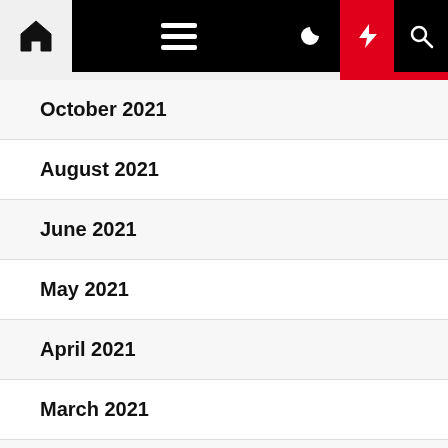Navigation bar with home, menu, moon, lightning, search icons
October 2021
August 2021
June 2021
May 2021
April 2021
March 2021
February 2021
January 2021
December 2020